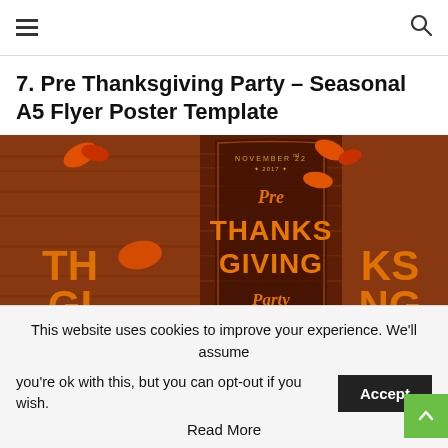☰  🔍
7. Pre Thanksgiving Party – Seasonal A5 Flyer Poster Template
[Figure (photo): A Thanksgiving party flyer poster showing autumn leaves, wood-grain background, and orange-gold text reading 'Pre Thanksgiving Party' with date November 22nd 2017]
This website uses cookies to improve your experience. We'll assume you're ok with this, but you can opt-out if you wish.
Read More